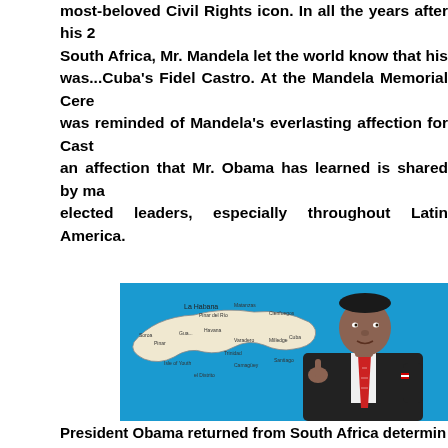most-beloved Civil Rights icon. In all the years after his 2 South Africa, Mr. Mandela let the world know that his was...Cuba's Fidel Castro. At the Mandela Memorial Cere was reminded of Mandela's everlasting affection for Cast an affection that Mr. Obama has learned is shared by ma elected leaders, especially throughout Latin America.
[Figure (photo): Composite image of President Obama gesturing with one hand, shown against a blue background with a map of Cuba visible behind him.]
President Obama returned from South Africa determin